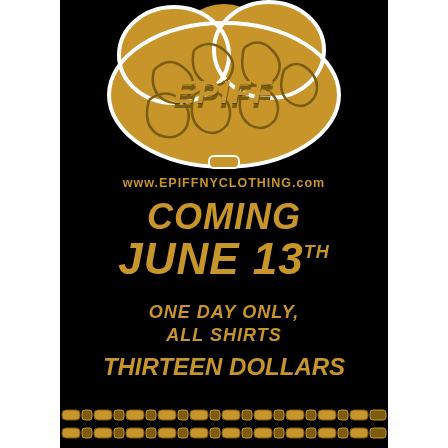[Figure (illustration): Golden/yellow stylized brain illustration with 'EPIFF' text rendered within the brain folds, white outline, on black background. This is the Epiff NY Clothing brand logo.]
www.EPIFFNYCLOTHING.com
COMING JUNE 13th
ONE DAY ONLY, ALL SHIRTS
THIRTEEN DOLLARS
[Figure (illustration): Two rows of gold bicycle/chain links forming a decorative border at the bottom of the page.]